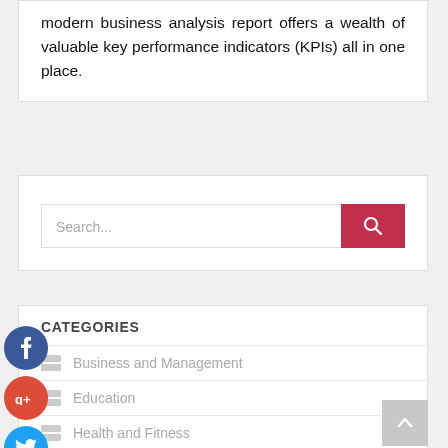modern business analysis report offers a wealth of valuable key performance indicators (KPIs) all in one place.
[Figure (screenshot): Search bar with red search button containing a magnifying glass icon]
CATEGORIES
Business and Management
Education
Health and Fitness
Home and Garden
Legal
[Figure (infographic): Social media icons: Facebook (blue circle), Google+ (red circle), Twitter (blue circle), Plus/Add (dark circle)]
[Figure (other): Scroll to top button (grey square with up arrow)]